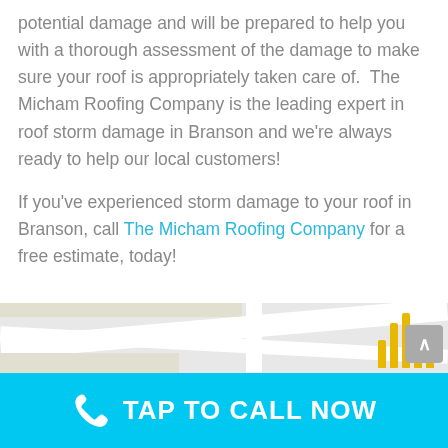potential damage and will be prepared to help you with a thorough assessment of the damage to make sure your roof is appropriately taken care of.  The Micham Roofing Company is the leading expert in roof storm damage in Branson and we're always ready to help our local customers!
If you've experienced storm damage to your roof in Branson, call The Micham Roofing Company for a free estimate, today!
[Figure (map): Partial map view showing streets and a yellow landmark/icon on the right side]
TAP TO CALL NOW